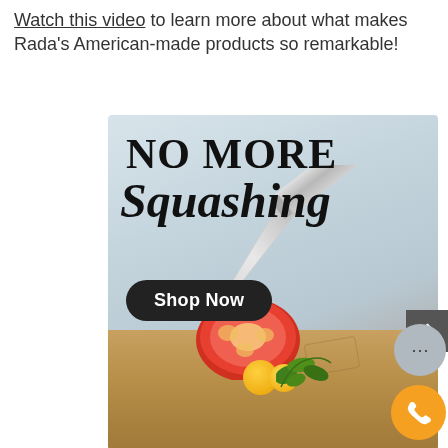Watch this video to learn more about what makes Rada's American-made products so remarkable!
[Figure (photo): Advertisement banner for Rada knives showing a stainless steel knife on a wooden cutting board next to a halved tomato and small yellow cherry tomatoes with herbs. Text reads 'NO MORE Squashing' with a 'Shop Now' button.]